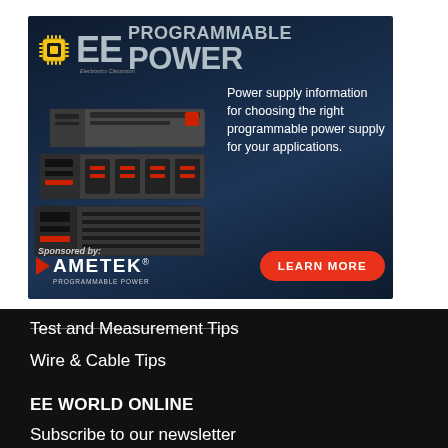[Figure (advertisement): EE Programmable Power advertisement banner sponsored by AMETEK Programmable Power. Shows rack-mount power supplies with text 'Power supply information for choosing the right programmable power supply for your applications.' and a red LEARN MORE button.]
Test and Measurement Tips
Wire & Cable Tips
EE WORLD ONLINE
Subscribe to our newsletter
Lee's teardown videos